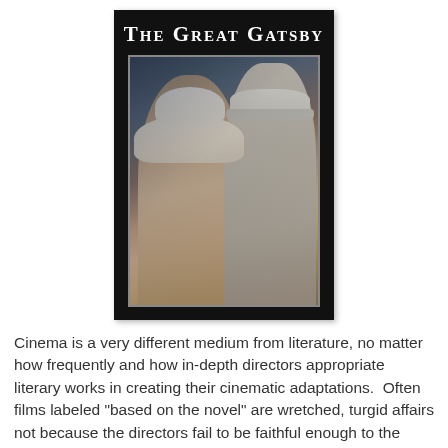[Figure (photo): Movie poster for The Great Gatsby showing a woman in a white hat and a man in a white suit and cap against a dark background, with the title 'The Great Gatsby' at the top in white serif font.]
Cinema is a very different medium from literature, no matter how frequently and how in-depth directors appropriate literary works in creating their cinematic adaptations.  Often films labeled "based on the novel" are wretched, turgid affairs not because the directors fail to be faithful enough to the source material but instead because they are too faithful, at least to the letter of the story and not to its spirit.  This is especially notable when the source material is a classic that